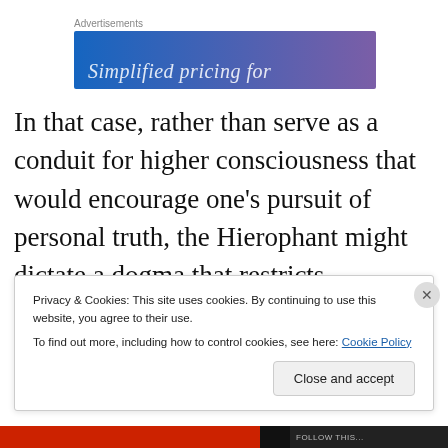[Figure (other): Advertisement banner with blue-purple gradient and text 'Simplified pricing for']
In that case, rather than serve as a conduit for higher consciousness that would encourage one’s pursuit of personal truth, the Hierophant might dictate a dogma that restricts individual freedom.
[Figure (photo): Partial photo of a building exterior visible behind the cookie consent banner]
Privacy & Cookies: This site uses cookies. By continuing to use this website, you agree to their use.
To find out more, including how to control cookies, see here: Cookie Policy
Close and accept